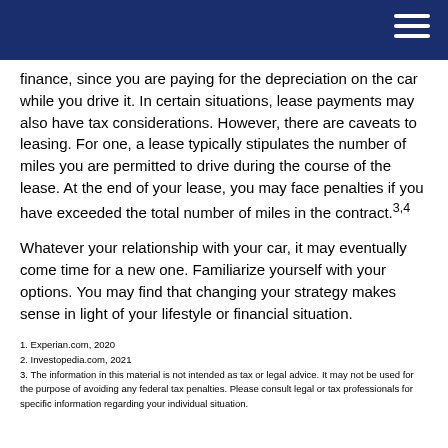[Navigation header with hamburger menu]
finance, since you are paying for the depreciation on the car while you drive it. In certain situations, lease payments may also have tax considerations. However, there are caveats to leasing. For one, a lease typically stipulates the number of miles you are permitted to drive during the course of the lease. At the end of your lease, you may face penalties if you have exceeded the total number of miles in the contract.3,4
Whatever your relationship with your car, it may eventually come time for a new one. Familiarize yourself with your options. You may find that changing your strategy makes sense in light of your lifestyle or financial situation.
1. Experian.com, 2020
2. Investopedia.com, 2021
3. The information in this material is not intended as tax or legal advice. It may not be used for the purpose of avoiding any federal tax penalties. Please consult legal or tax professionals for specific information regarding your individual situation.